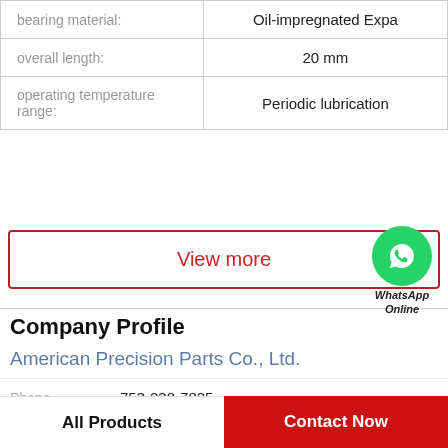| Property | Value |
| --- | --- |
| bearing material: | Oil-impregnated Expa |
| overall length: | 20 mm |
| operating temperature range: | Periodic lubrication |
View more
[Figure (logo): WhatsApp Online green circle logo with phone icon and text 'WhatsApp Online']
Company Profile
American Precision Parts Co., Ltd.
Phone  753-238-7835
View more
All Products   Contact Now